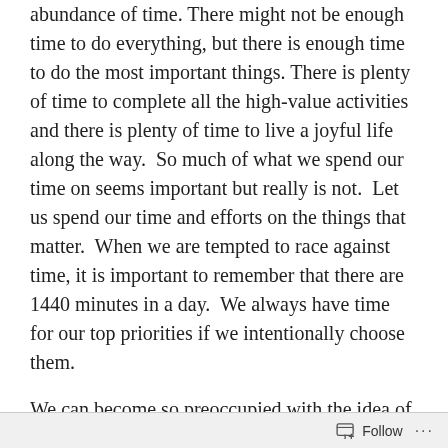abundance of time. There might not be enough time to do everything, but there is enough time to do the most important things. There is plenty of time to complete all the high-value activities and there is plenty of time to live a joyful life along the way.  So much of what we spend our time on seems important but really is not.  Let us spend our time and efforts on the things that matter.  When we are tempted to race against time, it is important to remember that there are 1440 minutes in a day.  We always have time for our top priorities if we intentionally choose them.
We can become so preoccupied with the idea of spending time efficiently that we miss the opportunities to spend it well.  While schedules can serve us, over-scheduling leaves little space to
Follow ···